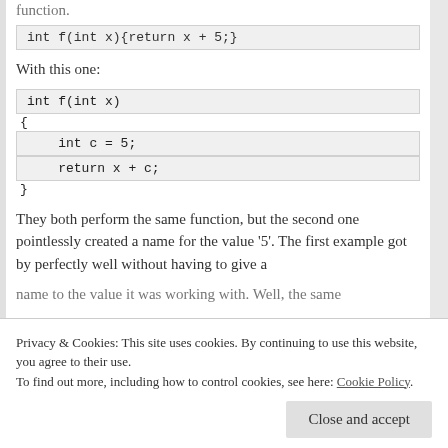function.
With this one:
They both perform the same function, but the second one pointlessly created a name for the value '5'. The first example got by perfectly well without having to give a name to the value it was working with. Well, the same
Privacy & Cookies: This site uses cookies. By continuing to use this website, you agree to their use.
To find out more, including how to control cookies, see here: Cookie Policy
Close and accept